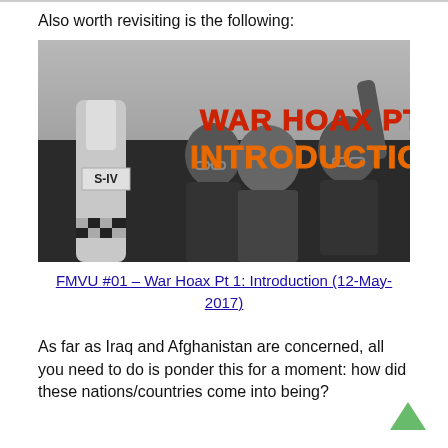Also worth revisiting is the following:
[Figure (photo): Black and white photograph of three men looking upward, with a rocket labeled S-IV in the foreground. Overlaid text reads 'WAR HOAX PT 1: INTRODUCTION' in red and orange bold letters.]
FMVU #01 – War Hoax Pt 1: Introduction (12-May-2017)
As far as Iraq and Afghanistan are concerned, all you need to do is ponder this for a moment: how did these nations/countries come into being?